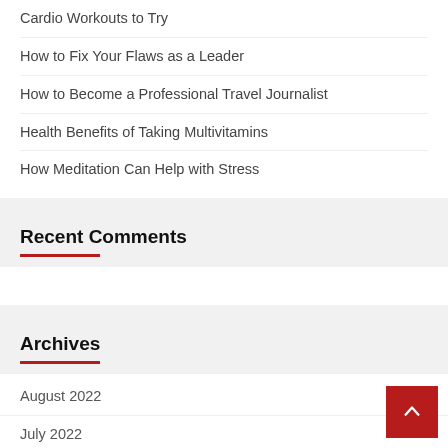Cardio Workouts to Try
How to Fix Your Flaws as a Leader
How to Become a Professional Travel Journalist
Health Benefits of Taking Multivitamins
How Meditation Can Help with Stress
Recent Comments
Archives
August 2022
July 2022
June 2022